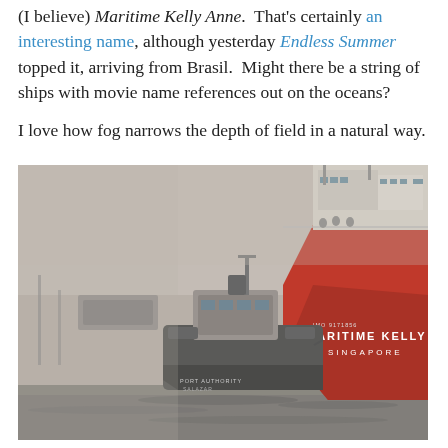(I believe) Maritime Kelly Anne. That's certainly an interesting name, although yesterday Endless Summer topped it, arriving from Brasil. Might there be a string of ships with movie name references out on the oceans?

I love how fog narrows the depth of field in a natural way.
[Figure (photo): A large red-hulled cargo ship named 'MARITIME KELLY ANNE SINGAPORE' with a smaller tugboat alongside it, photographed in foggy conditions on the water.]